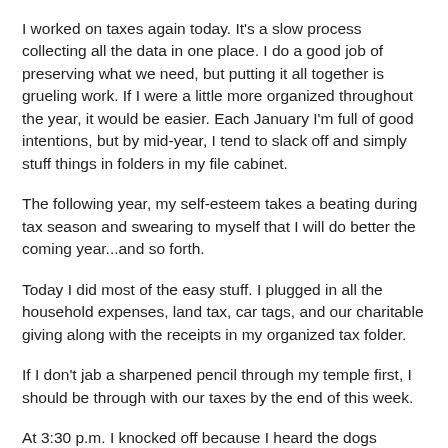I worked on taxes again today. It's a slow process collecting all the data in one place. I do a good job of preserving what we need, but putting it all together is grueling work. If I were a little more organized throughout the year, it would be easier. Each January I'm full of good intentions, but by mid-year, I tend to slack off and simply stuff things in folders in my file cabinet.
The following year, my self-esteem takes a beating during tax season and swearing to myself that I will do better the coming year...and so forth.
Today I did most of the easy stuff. I plugged in all the household expenses, land tax, car tags, and our charitable giving along with the receipts in my organized tax folder.
If I don't jab a sharpened pencil through my temple first, I should be through with our taxes by the end of this week.
At 3:30 p.m. I knocked off because I heard the dogs barking in the back yard. Our friend Fred was coming over for dinner and that seemed like a perfect excuse to quit for the day.